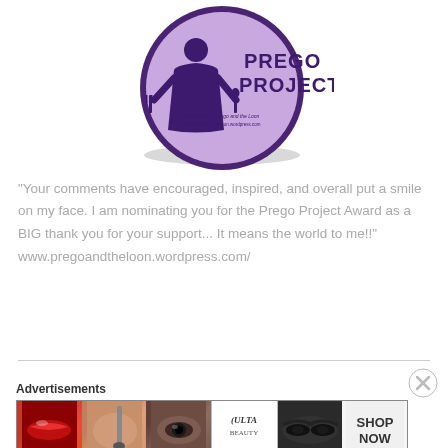[Figure (logo): Prego Project circular badge/button logo with purple background, female silhouette holding a fork and spoon, text 'PREGO PROJECT' in dark purple, 'Presented by Prego and the Loon http://pregoandtheloon.wordpress.com']
"Your comments have encouraged, inspired, and overall put a smile on my face. I am nominating you for the Prego Project Award as a BIG thank you for your support... It means the world to me!!"
www.pregoandtheloon.wordpress.com/
Advertisements
[Figure (screenshot): ULTA beauty advertisement banner showing cosmetic images: lips with lipstick, makeup brush on cheek, eye close-up, ULTA logo, eyes with dark makeup, SHOP NOW text]